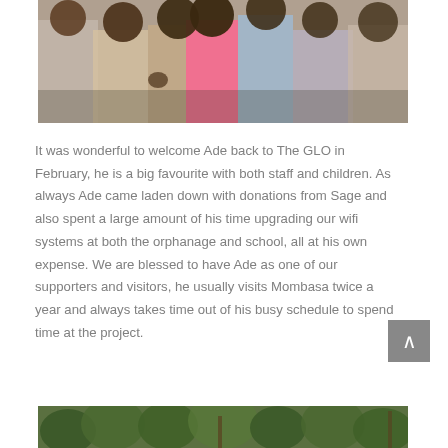[Figure (photo): Group of children and adults standing together outdoors, photographed from a low angle showing their bodies from waist up. A child in pink is prominent in the center, giving a thumbs up.]
It was wonderful to welcome Ade back to The GLO in February, he is a big favourite with both staff and children. As always Ade came laden down with donations from Sage and also spent a large amount of his time upgrading our wifi systems at both the orphanage and school, all at his own expense. We are blessed to have Ade as one of our supporters and visitors, he usually visits Mombasa twice a year and always takes time out of his busy schedule to spend time at the project.
[Figure (photo): Outdoor scene with lush green trees and vegetation, partial view at bottom of page.]